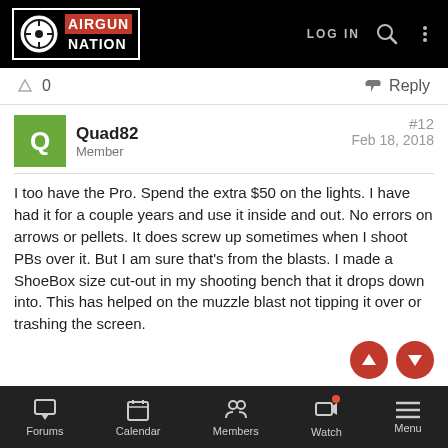AIRGUN NATION
▲ 0   ↩ Reply
Quad82
Member
#12
Feb 18, 2018
I too have the Pro. Spend the extra $50 on the lights. I have had it for a couple years and use it inside and out. No errors on arrows or pellets. It does screw up sometimes when I shoot PBs over it. But I am sure that's from the blasts. I made a ShoeBox size cut-out in my shooting bench that it drops down into. This has helped on the muzzle blast not tipping it over or trashing the screen.
jp_over
Forums   Calendar   Members   Watch   Menu